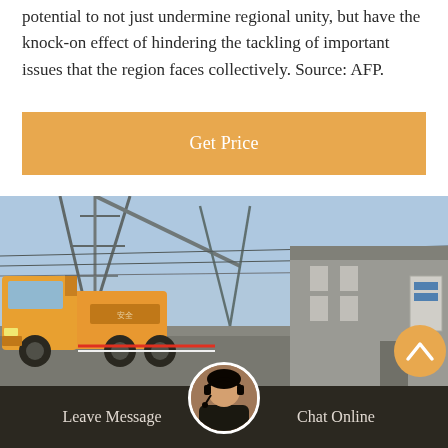potential to not just undermine regional unity, but have the knock-on effect of hindering the tackling of important issues that the region faces collectively. Source: AFP.
[Figure (other): Orange 'Get Price' button]
[Figure (photo): Industrial facility with cranes, power lines, and a yellow utility truck parked near the entrance of a building. There is a scroll-to-top button (orange circle with upward chevron) in the lower right.]
Leave Message   Chat Online